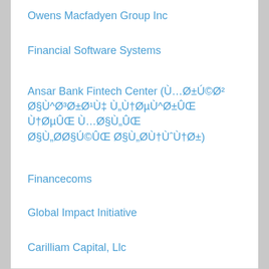Owens Macfadyen Group Inc
Financial Software Systems
Ansar Bank Fintech Center (Ù…Ø±Ú©Ø² Ø§Ù^Ø³Ø±Ø¹Ù‡ Ù„Ù†ØµÙ^Ø±ÛŒ Ù†ØµÛŒ Ù…Ø§Ù„ÛŒ Ø§Ù„Ø­Ø§Ú©ÛŒ Ø§Ù„Ø­Ù†ÙˆÙ†Ø±)
Financecoms
Global Impact Initiative
Carilliam Capital, Llc
Company Search
# A B C D E F G H I J K L M N O P Q R S T U V W X Y Z